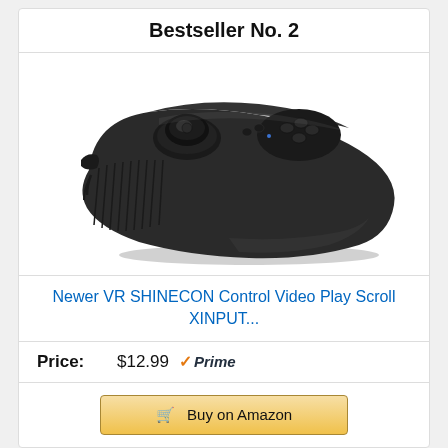Bestseller No. 2
[Figure (photo): Black VR SHINECON wireless Bluetooth game controller with joystick and multiple buttons, asymmetric elongated ergonomic design]
Newer VR SHINECON Control Video Play Scroll XINPUT...
Price: $12.99 ✓Prime
🛒 Buy on Amazon